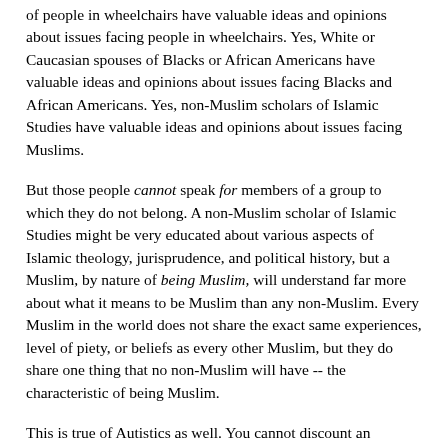of people in wheelchairs have valuable ideas and opinions about issues facing people in wheelchairs. Yes, White or Caucasian spouses of Blacks or African Americans have valuable ideas and opinions about issues facing Blacks and African Americans. Yes, non-Muslim scholars of Islamic Studies have valuable ideas and opinions about issues facing Muslims.
But those people cannot speak for members of a group to which they do not belong. A non-Muslim scholar of Islamic Studies might be very educated about various aspects of Islamic theology, jurisprudence, and political history, but a Muslim, by nature of being Muslim, will understand far more about what it means to be Muslim than any non-Muslim. Every Muslim in the world does not share the exact same experiences, level of piety, or beliefs as every other Muslim, but they do share one thing that no non-Muslim will have -- the characteristic of being Muslim.
This is true of Autistics as well. You cannot discount an Autistic person because he or she can't possibly speak for every single other Autistic person. No two Autistic people are going to have the exact same experiences, abilities, or challenges. But any Autistic person will automatically, by nature of being Autistic, understand far more